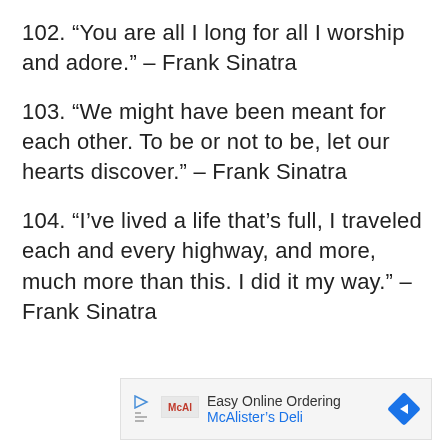102. “You are all I long for all I worship and adore.” – Frank Sinatra
103. “We might have been meant for each other. To be or not to be, let our hearts discover.” – Frank Sinatra
104. “I’ve lived a life that’s full, I traveled each and every highway, and more, much more than this. I did it my way.” – Frank Sinatra
[Figure (other): Advertisement banner for McAlister's Deli with Easy Online Ordering text, play button icon, McAl logo, and blue diamond arrow icon]